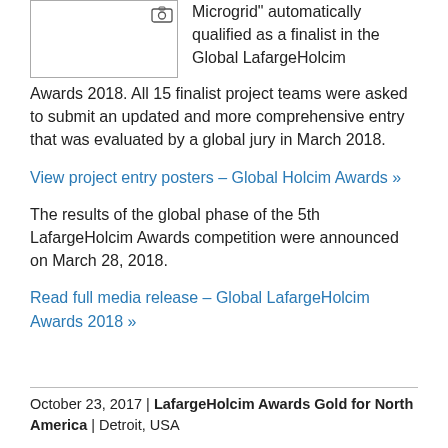[Figure (photo): Small image placeholder with camera icon in top-right corner, bordered box]
Microgrid" automatically qualified as a finalist in the Global LafargeHolcim Awards 2018. All 15 finalist project teams were asked to submit an updated and more comprehensive entry that was evaluated by a global jury in March 2018.
View project entry posters – Global Holcim Awards »
The results of the global phase of the 5th LafargeHolcim Awards competition were announced on March 28, 2018.
Read full media release – Global LafargeHolcim Awards 2018 »
October 23, 2017 | LafargeHolcim Awards Gold for North America | Detroit, USA
Celebrations start at home
[Figure (photo): Image showing a warm-toned interior or celebration scene]
Winning the top prize for